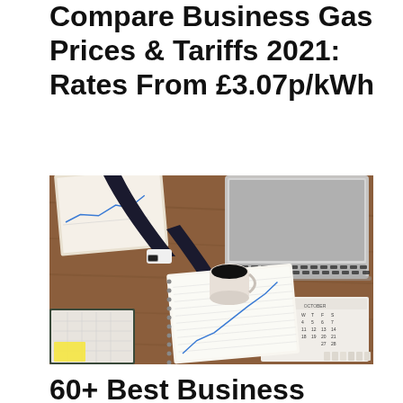Compare Business Gas Prices & Tariffs 2021: Rates From £3.07p/kWh
[Figure (photo): Aerial view of a person in a business suit sitting at a wooden desk, writing in a notebook with a pen. On the desk are printed charts, a cup of black coffee, an open laptop computer, a calendar, and a planner/scheduler with a sticky note.]
60+ Best Business Energy